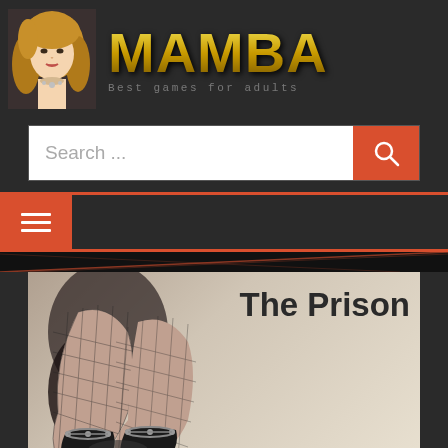[Figure (logo): MAMBA logo with woman avatar and tagline 'Best games for adults']
Search ...
[Figure (screenshot): Navigation hamburger menu button in red/orange]
[Figure (photo): The Prison game card image showing legs in fishnet stockings with text 'The Prison']